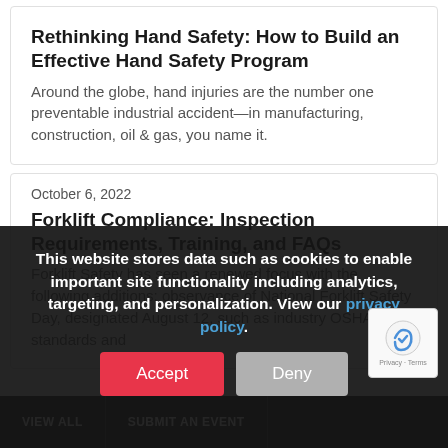Rethinking Hand Safety: How to Build an Effective Hand Safety Program
Around the globe, hand injuries are the number one preventable industrial accident—in manufacturing, construction, oil & gas, you name it.
October 6, 2022
Forklift Compliance: Inspection Requirements, Training, and FAQs
Forklift Safety has seen a renewed focus with the following additions: observance of National Forklift Safety Day, designated August 12, such as industry OSHA standards and...
This website stores data such as cookies to enable important site functionality including analytics, targeting, and personalization. View our privacy policy.